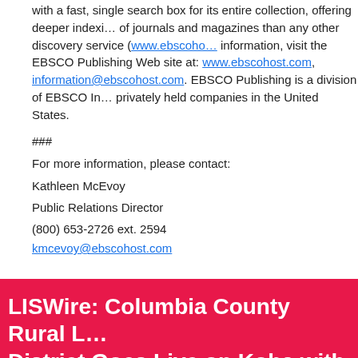with a fast, single search box for its entire collection, offering deeper indexing of journals and magazines than any other discovery service (www.ebscohost.com). For more information, visit the EBSCO Publishing Web site at: www.ebscohost.com, or email information@ebscohost.com. EBSCO Publishing is a division of EBSCO Industries, one of the largest privately held companies in the United States.
###
For more information, please contact:
Kathleen McEvoy
Public Relations Director
(800) 653-2726 ext. 2594
kmcevoy@ebscohost.com
LISWire: Columbia County Rural Library District Goes Live on Koha with ByWater Solutions
0